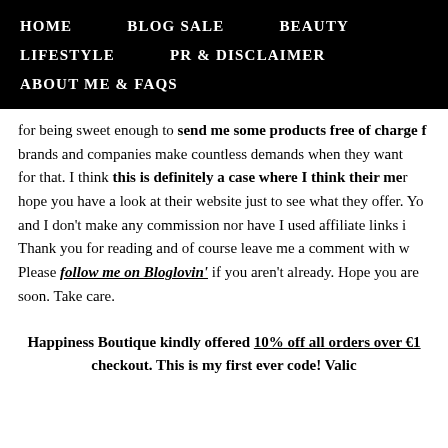HOME   BLOG SALE   BEAUTY   LIFESTYLE   PR & DISCLAIMER   ABOUT ME & FAQs
for being sweet enough to send me some products free of charge  brands and companies make countless demands when they want for that. I think this is definitely a case where I think their me hope you have a look at their website just to see what they offer. Yo and I don't make any commission nor have I used affiliate links i Thank you for reading and of course leave me a comment with w Please follow me on Bloglovin' if you aren't already. Hope you are soon. Take care.
Happiness Boutique kindly offered 10% off all orders over €1 checkout. This is my first ever code! Valic